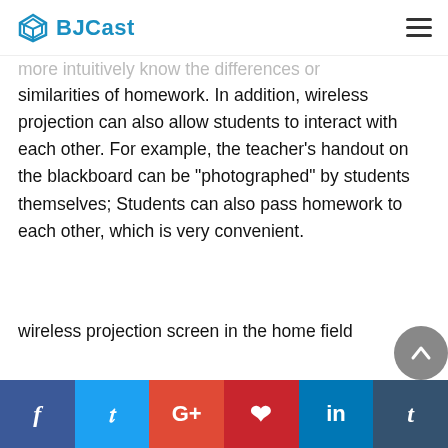BJCast
more intuitively know the differences or similarities of homework. In addition, wireless projection can also allow students to interact with each other. For example, the teacher's handout on the blackboard can be “photographed” by students themselves; Students can also pass homework to each other, which is very convenient.
wireless projection screen in the home field
home field is mainly the rise of “big screen” in